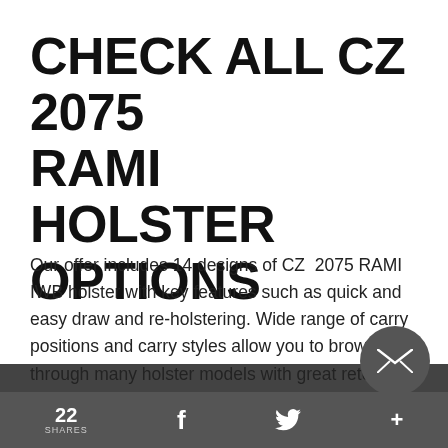CHECK ALL CZ 2075 RAMI HOLSTER OPTIONS
Our offer includes 14 designs of CZ 2075 RAMI IWB holster with key features such as quick and easy draw and re-holstering. Wide range of carry positions and carry styles allow you to browse through many holster models with great retention and a covered trigger guard, either open top holsters or holsters with a thumb break. Our CZ 207… RAMI holsters are designed to minimise gun print…
22 SHARES  f  𝒙  +